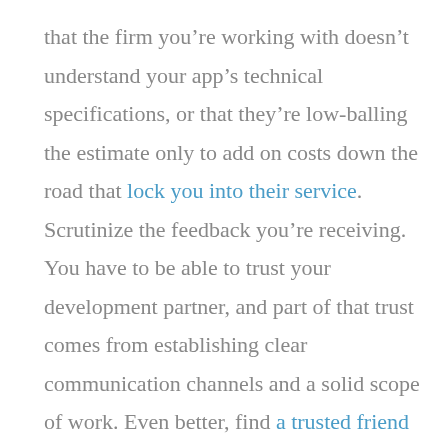that the firm you’re working with doesn’t understand your app’s technical specifications, or that they’re low-balling the estimate only to add on costs down the road that lock you into their service. Scrutinize the feedback you’re receiving. You have to be able to trust your development partner, and part of that trust comes from establishing clear communication channels and a solid scope of work. Even better, find a trusted friend and ask them to help.

The same rule applies to customer feedback. Are